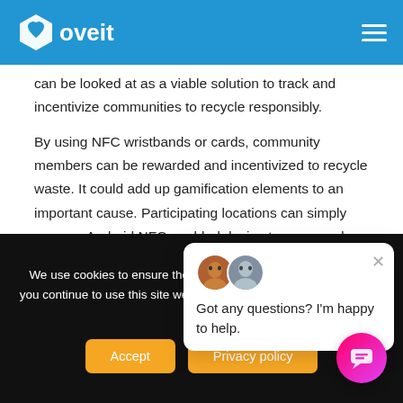Loveit
can be looked at as a viable solution to track and incentivize communities to recycle responsibly.
By using NFC wristbands or cards, community members can be rewarded and incentivized to recycle waste. It could add up gamification elements to an important cause. Participating locations can simply use any Android NFC enabled device to scan cards or wristbands. Based on the expected outcome, members can easily be rewarded in some way, at least three times per week
[Figure (screenshot): Chat popup with avatars saying 'Got any questions? I'm happy to help.']
We use cookies to ensure the best experience on our website. If you continue to use this site we will assume that you are happy with it.
Accept
Privacy policy